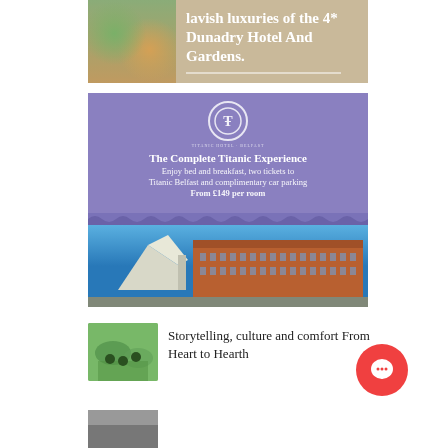[Figure (photo): Dunadry Hotel and Gardens advertisement banner showing gardens/outdoor imagery with text 'lavish luxuries of the 4* Dunadry Hotel And Gardens.']
[Figure (infographic): Titanic Hotel Belfast advertisement. Purple top section with circular logo, headline 'The Complete Titanic Experience', body text 'Enjoy bed and breakfast, two tickets to Titanic Belfast and complimentary car parking From £149 per room'. Bottom section shows photo of Titanic Belfast building and the historic red brick H&W building.]
[Figure (photo): Small thumbnail image of people gathered outdoors, green/nature setting]
Storytelling, culture and comfort From Heart to Hearth
[Figure (infographic): Red/coral circular chat button with speech bubble icon]
[Figure (photo): Small partial thumbnail image at the bottom of the page]